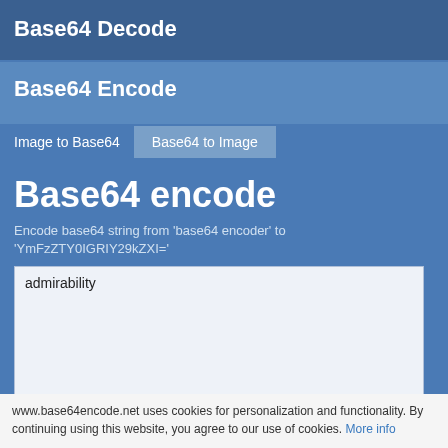Base64 Decode
Base64 Encode
Image to Base64
Base64 to Image
Base64 encode
Encode base64 string from 'base64 encoder' to 'YmFzZTY0IGRIY29kZXI='
admirability
www.base64encode.net uses cookies for personalization and functionality. By continuing using this website, you agree to our use of cookies. More info